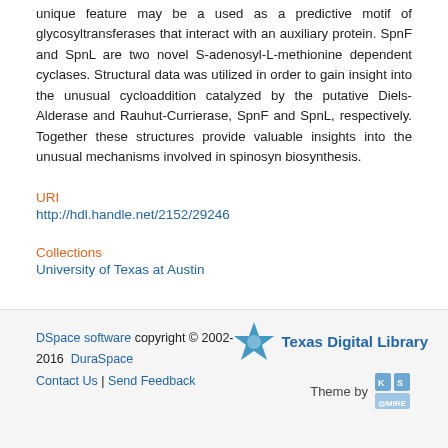unique feature may be a used as a predictive motif of glycosyltransferases that interact with an auxiliary protein. SpnF and SpnL are two novel S-adenosyl-L-methionine dependent cyclases. Structural data was utilized in order to gain insight into the unusual cycloaddition catalyzed by the putative Diels-Alderase and Rauhut-Currierase, SpnF and SpnL, respectively. Together these structures provide valuable insights into the unusual mechanisms involved in spinosyn biosynthesis.
URI
http://hdl.handle.net/2152/29246
Collections
University of Texas at Austin
DSpace software copyright © 2002-2016  DuraSpace  Contact Us | Send Feedback  Theme by @MIRE